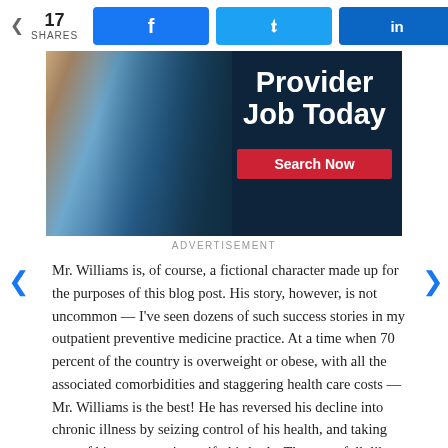17 SHARES | Facebook | Twitter | LinkedIn
[Figure (photo): Advertisement banner showing a doctor examining an X-ray with text 'Provider Job Today' and a red 'Search Now' button]
ADVERTISEMENT
Mr. Williams is, of course, a fictional character made up for the purposes of this blog post. His story, however, is not uncommon — I've seen dozens of such success stories in my outpatient preventive medicine practice. At a time when 70 percent of the country is overweight or obese, with all the associated comorbidities and staggering health care costs — Mr. Williams is the best! He has reversed his decline into chronic illness by seizing control of his health, and taking care of his most precious gift, his body. The more folk like Mr. Williams we have, the more healthy and happier our population, combined with billions of dollars in health care